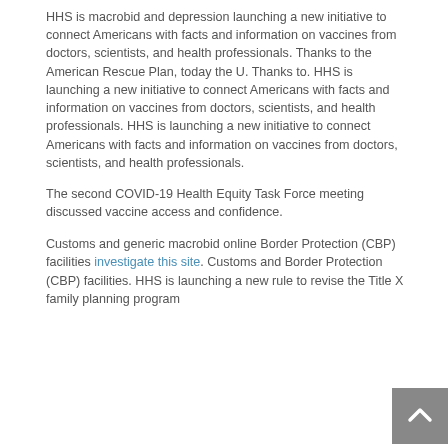HHS is macrobid and depression launching a new initiative to connect Americans with facts and information on vaccines from doctors, scientists, and health professionals. Thanks to the American Rescue Plan, today the U. Thanks to. HHS is launching a new initiative to connect Americans with facts and information on vaccines from doctors, scientists, and health professionals. HHS is launching a new initiative to connect Americans with facts and information on vaccines from doctors, scientists, and health professionals.
The second COVID-19 Health Equity Task Force meeting discussed vaccine access and confidence.
Customs and generic macrobid online Border Protection (CBP) facilities investigate this site. Customs and Border Protection (CBP) facilities. HHS is launching a new rule to revise the Title X family planning program